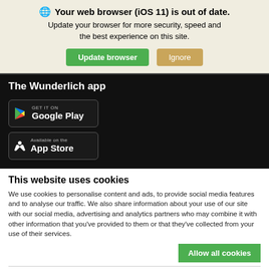Your web browser (iOS 11) is out of date. Update your browser for more security, speed and the best experience on this site.
Update browser | Ignore
The Wunderlich app
[Figure (screenshot): Google Play store badge - GET IT ON Google Play]
[Figure (screenshot): Apple App Store badge - Available on the App Store]
This website uses cookies
We use cookies to personalise content and ads, to provide social media features and to analyse our traffic. We also share information about your use of our site with our social media, advertising and analytics partners who may combine it with other information that you've provided to them or that they've collected from your use of their services.
Allow all cookies
Necessary  Preferences  Statistics  Marketing  No, decide individually